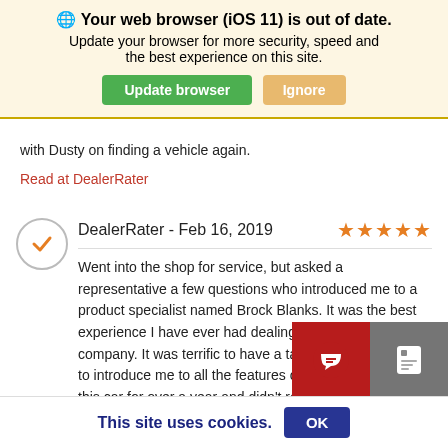🌐 Your web browser (iOS 11) is out of date. Update your browser for more security, speed and the best experience on this site.
Update browser | Ignore
with Dusty on finding a vehicle again.
Read at DealerRater
DealerRater - Feb 16, 2019 ★★★★★
Went into the shop for service, but asked a representative a few questions who introduced me to a product specialist named Brock Blanks. It was the best experience I have ever had dealing with a corporate company. It was terrific to have a talented representative to introduce me to all the features of my F-Pace. I've had this car for over a year and didn't re... ...d a... features. Thanks Brock. I know who I can co... ...ha...
This site uses cookies. OK